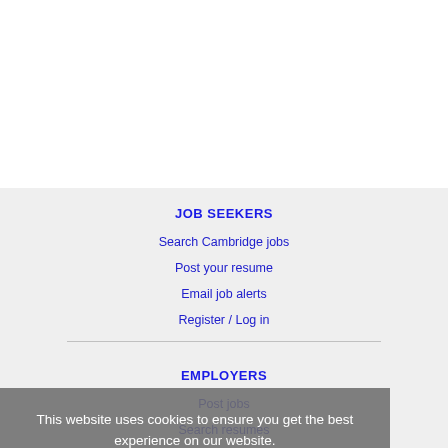JOB SEEKERS
Search Cambridge jobs
Post your resume
Email job alerts
Register / Log in
EMPLOYERS
Post jobs
Search resumes
Email resume alerts
Advertise
This website uses cookies to ensure you get the best experience on our website.
Learn more
Got it